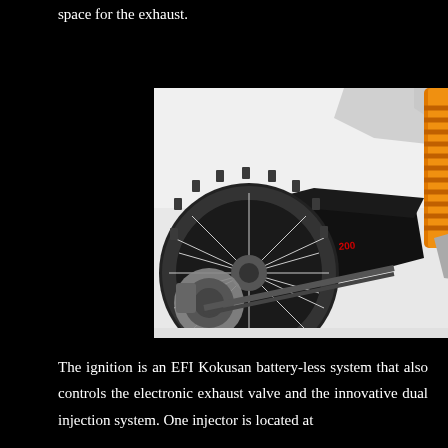space for the exhaust.
[Figure (photo): Close-up photo of the rear wheel, swingarm, and rear suspension of a dirt/enduro motorcycle. The black swingarm bears a green and red 'ENDURO 200' decal. An orange coil-over shock absorber is visible on the right side. The rear disc brake assembly is visible on the left. The background is white/light.]
The ignition is an EFI Kokusan battery-less system that also controls the electronic exhaust valve and the innovative dual injection system. One injector is located at